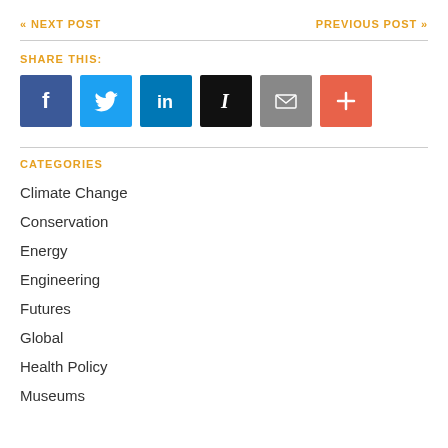« NEXT POST    PREVIOUS POST »
SHARE THIS:
[Figure (infographic): Six social sharing icon buttons: Facebook (blue), Twitter (light blue), LinkedIn (dark blue), Instapaper (black with I), Email (gray envelope), More/Plus (orange-red with +)]
CATEGORIES
Climate Change
Conservation
Energy
Engineering
Futures
Global
Health Policy
Museums